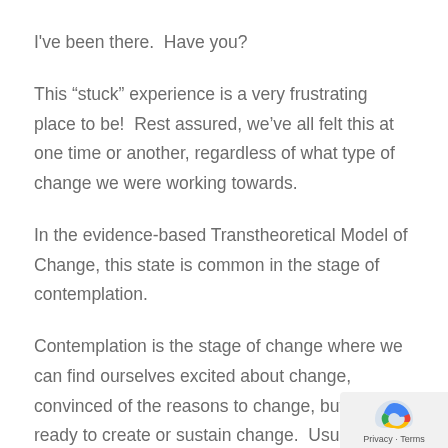I've been there.  Have you?
This “stuck” experience is a very frustrating place to be!  Rest assured, we’ve all felt this at one time or another, regardless of what type of change we were working towards.
In the evidence-based Transtheoretical Model of Change, this state is common in the stage of contemplation.
Contemplation is the stage of change where we can find ourselves excited about change, convinced of the reasons to change, but not ready to create or sustain change.  Usually,